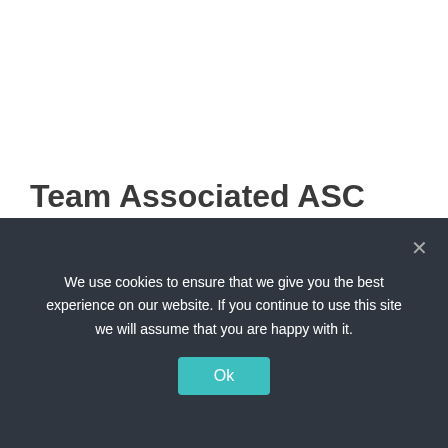Team Associated ASC 80944
Brushless 1/8 truggy 4WD kit
Price level: USD 620
DETAILS
COMPARE
We use cookies to ensure that we give you the best experience on our website. If you continue to use this site we will assume that you are happy with it.
Ok